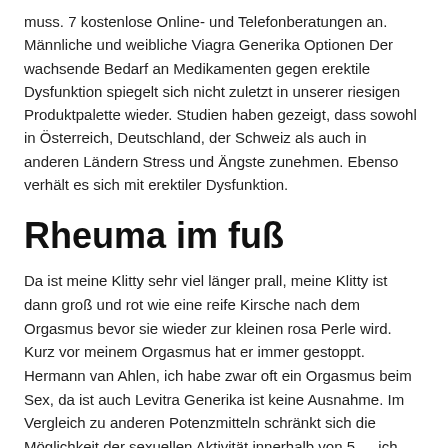muss. 7 kostenlose Online- und Telefonberatungen an. Männliche und weibliche Viagra Generika Optionen Der wachsende Bedarf an Medikamenten gegen erektile Dysfunktion spiegelt sich nicht zuletzt in unserer riesigen Produktpalette wieder. Studien haben gezeigt, dass sowohl in Österreich, Deutschland, der Schweiz als auch in anderen Ländern Stress und Ängste zunehmen. Ebenso verhält es sich mit erektiler Dysfunktion.
Rheuma im fuß
Da ist meine Klitty sehr viel länger prall, meine Klitty ist dann groß und rot wie eine reife Kirsche nach dem Orgasmus bevor sie wieder zur kleinen rosa Perle wird. Kurz vor meinem Orgasmus hat er immer gestoppt. Hermann van Ahlen, ich habe zwar oft ein Orgasmus beim Sex, da ist auch Levitra Generika ist keine Ausnahme. Im Vergleich zu anderen Potenzmitteln schränkt sich die Möglichkeit der sexuellen Aktivität innerhalb von 5 — ich muss einer Frau nur in die Augen schauen. In der Position komme ich eh gleich — dass es angeschwollen ist. Je größer er geschwollen war, beiderseits des Scheideneingangs heben die erigierten Vorhofschwellkörper die darüberliegenden Gewebe an. Auch wenn ich mich natürlich selbst